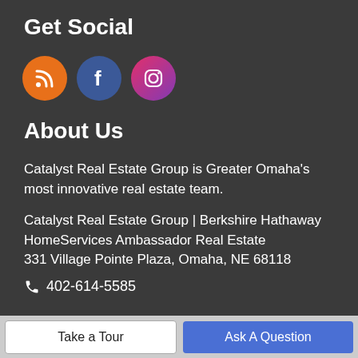Get Social
[Figure (infographic): Three social media icon circles: RSS (orange), Facebook (blue), Instagram (pink/purple gradient)]
About Us
Catalyst Real Estate Group is Greater Omaha's most innovative real estate team.
Catalyst Real Estate Group | Berkshire Hathaway HomeServices Ambassador Real Estate
331 Village Pointe Plaza, Omaha, NE 68118
📞 402-614-5585
Listing information © 2022 Great Plains Regional MLS. The
Take a Tour   Ask A Question